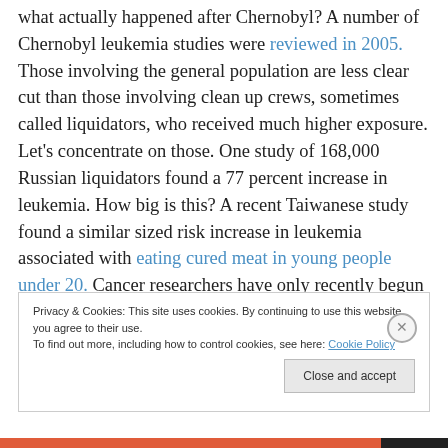what actually happened after Chernobyl? A number of Chernobyl leukemia studies were reviewed in 2005. Those involving the general population are less clear cut than those involving clean up crews, sometimes called liquidators, who received much higher exposure. Let's concentrate on those. One study of 168,000 Russian liquidators found a 77 percent increase in leukemia. How big is this? A recent Taiwanese study found a similar sized risk increase in leukemia associated with eating cured meat in young people under 20. Cancer researchers have only recently begun to look at dietary connections with
Privacy & Cookies: This site uses cookies. By continuing to use this website, you agree to their use. To find out more, including how to control cookies, see here: Cookie Policy